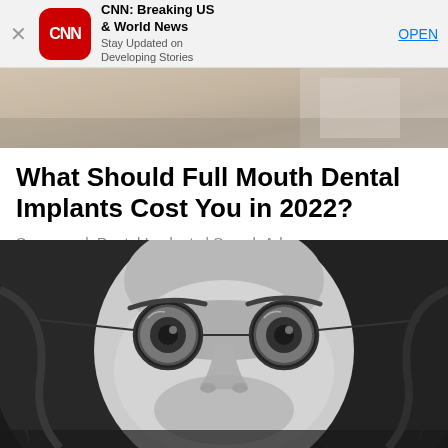[Figure (screenshot): CNN app banner with red rounded square logo, app name 'CNN: Breaking US & World News', subtitle 'Stay Updated on Developing Stories', and OPEN link button]
[Figure (photo): Top portion of a car interior or outdoor scene, cropped image strip showing warm tones]
What Should Full Mouth Dental Implants Cost You in 2022?
Sponsored: Dental Implants | Search Ads
[Figure (photo): Black and white close-up portrait of a young man with long curly hair wearing round wire-frame glasses, looking slightly upward]